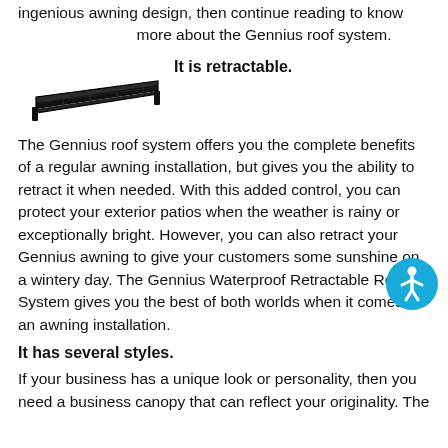ingenious awning design, then continue reading to know more about the Gennius roof system.
[Figure (illustration): A dark flat retractable awning/roof panel viewed from the side, shown in perspective with a trapezoidal profile.]
It is retractable.
The Gennius roof system offers you the complete benefits of a regular awning installation, but gives you the ability to retract it when needed. With this added control, you can protect your exterior patios when the weather is rainy or exceptionally bright. However, you can also retract your Gennius awning to give your customers some sunshine on a wintery day. The Gennius Waterproof Retractable Roof System gives you the best of both worlds when it comes to an awning installation.
It has several styles.
If your business has a unique look or personality, then you need a business canopy that can reflect your originality. The